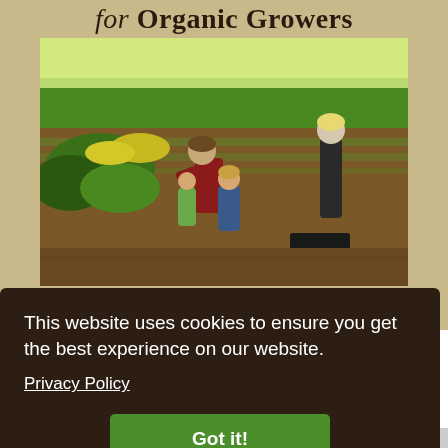for Organic Growers
[Figure (photo): Photograph of a family (adult and two children) harvesting vegetables in a farm field with rows of crops and green/yellow foliage in the background]
“The Fort Light potting soil has been a mainstay on my farm for the last nine seasons. For healthy seedling production there is nothing better, more consistent, or
This website uses cookies to ensure you get the best experience on our website.
Privacy Policy
Got it!